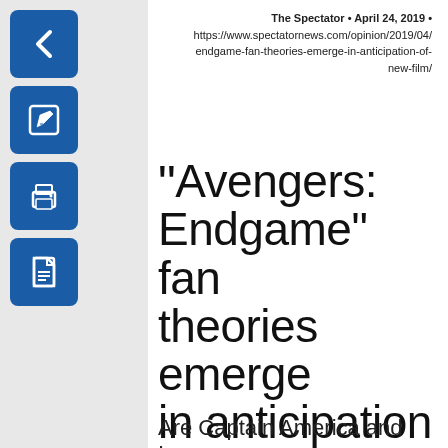The Spectator • April 24, 2019 • https://www.spectatornews.com/opinion/2019/04/endgame-fan-theories-emerge-in-anticipation-of-new-film/
“Avengers: Endgame” fan theories emerge in anticipation of new film
Are Captain America and Iron